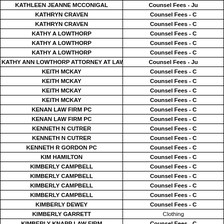| Name | Type |
| --- | --- |
| KATHLEEN JEANNE MCCONIGAL | Counsel Fees - Ju |
| KATHRYN CRAVEN | Counsel Fees - C |
| KATHRYN CRAVEN | Counsel Fees - C |
| KATHY A LOWTHORP | Counsel Fees - C |
| KATHY A LOWTHORP | Counsel Fees - C |
| KATHY A LOWTHORP | Counsel Fees - C |
| KATHY ANN LOWTHORP ATTORNEY AT LAW | Counsel Fees - Ju |
| KEITH MCKAY | Counsel Fees - C |
| KEITH MCKAY | Counsel Fees - C |
| KEITH MCKAY | Counsel Fees - C |
| KEITH MCKAY | Counsel Fees - C |
| KENAN LAW FIRM PC | Counsel Fees - C |
| KENAN LAW FIRM PC | Counsel Fees - C |
| KENNETH N CUTRER | Counsel Fees - C |
| KENNETH N CUTRER | Counsel Fees - C |
| KENNETH R GORDON PC | Counsel Fees - C |
| KIM HAMILTON | Counsel Fees - C |
| KIMBERLY CAMPBELL | Counsel Fees - C |
| KIMBERLY CAMPBELL | Counsel Fees - C |
| KIMBERLY CAMPBELL | Counsel Fees - C |
| KIMBERLY CAMPBELL | Counsel Fees - C |
| KIMBERLY DEWEY | Counsel Fees - C |
| KIMBERLY GARRETT | Clothing |
| KIMBERLY KNAPP LAW FIRM | Counsel Fees - C |